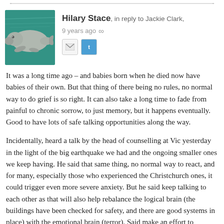…………………………………………………………………………………………………………………………………………………………………………………………
Hilary Stace, in reply to Jackie Clark, 9 years ago ∞
[Figure (photo): Avatar image of a manatee/dugong swimming underwater, teal/blue-green background]
It was a long time ago – and babies born when he died now have babies of their own. But that thing of there being no rules, no normal way to do grief is so right. It can also take a long time to fade from painful to chronic sorrow, to just memory, but it happens eventually. Good to have lots of safe talking opportunities along the way.
Incidentally, heard a talk by the head of counselling at Vic yesterday in the light of the big earthquake we had and the ongoing smaller ones we keep having. He said that same thing, no normal way to react, and for many, especially those who experienced the Christchurch ones, it could trigger even more severe anxiety. But he said keep talking to each other as that will also help rebalance the logical brain (the buildings have been checked for safety, and there are good systems in place) with the emotional brain (terror). Said make an effort to